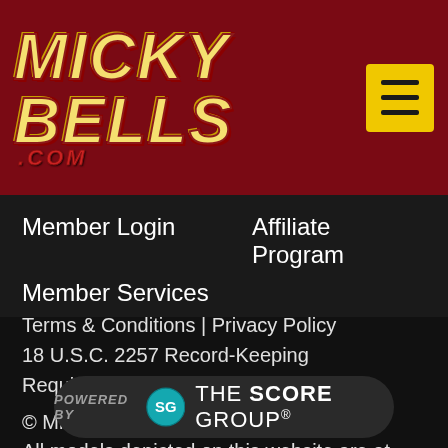[Figure (logo): Micky Bells .com logo on dark red background with yellow menu button]
Member Login
Affiliate Program
Member Services
Terms & Conditions | Privacy Policy
18 U.S.C. 2257 Record-Keeping Requirements Compliance Statement
© Micky Bells All rights reserved.
All models depicted on this website are at least 18 years old.
[Figure (logo): Powered by The Score Group badge with teal SG logo]